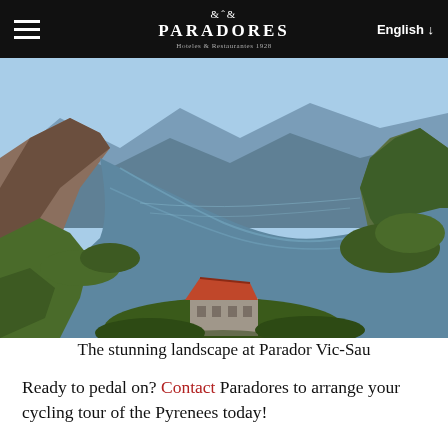PARADORES Hoteles & Restaurantes 1928 | English
[Figure (photo): Aerial view of stunning landscape at Parador Vic-Sau showing a river lake winding through green forested hills and mountains, with a historic stone building with red-tiled roof visible in the foreground on a peninsula.]
The stunning landscape at Parador Vic-Sau
Ready to pedal on? Contact Paradores to arrange your cycling tour of the Pyrenees today!